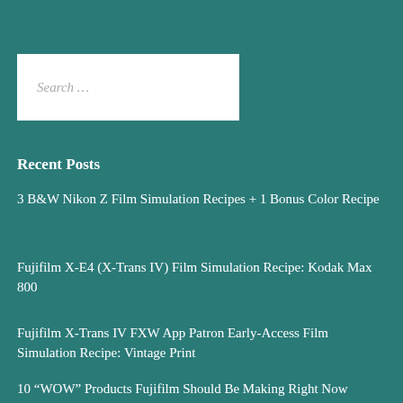[Figure (other): Search input box with placeholder text 'Search ...' on teal background]
Recent Posts
3 B&W Nikon Z Film Simulation Recipes + 1 Bonus Color Recipe
Fujifilm X-E4 (X-Trans IV) Film Simulation Recipe: Kodak Max 800
Fujifilm X-Trans IV FXW App Patron Early-Access Film Simulation Recipe: Vintage Print
10 “WOW” Products Fujifilm Should Be Making Right Now